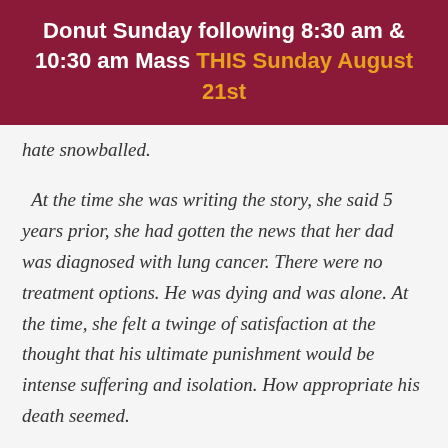Donut Sunday following 8:30 am & 10:30 am Mass THIS Sunday August 21st
hate snowballed.
At the time she was writing the story, she said 5 years prior, she had gotten the news that her dad was diagnosed with lung cancer. There were no treatment options. He was dying and was alone. At the time, she felt a twinge of satisfaction at the thought that his ultimate punishment would be intense suffering and isolation. How appropriate his death seemed.
Her intent from the start was to remain detached.